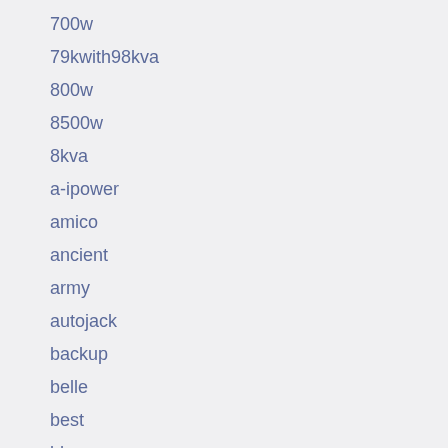700w
79kwith98kva
800w
8500w
8kva
a-ipower
amico
ancient
army
autojack
backup
belle
best
bhmer-ag
biggest
blackline
bohmer
böhmer-ag